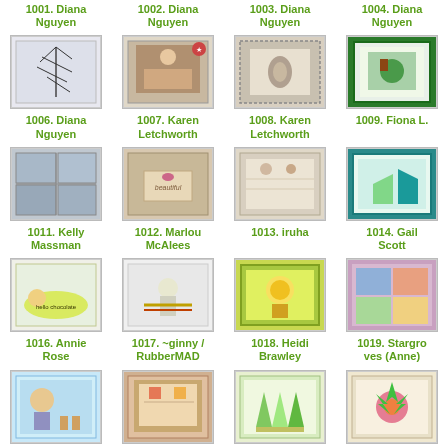1001. Diana Nguyen
1002. Diana Nguyen
1003. Diana Nguyen
1004. Diana Nguyen
[Figure (photo): Craft card with plant/branch stamping on light background]
[Figure (photo): Holiday photo card with family portrait and decorations]
[Figure (photo): Baby card with footprint and dotted border]
[Figure (photo): Colorful card with frog illustration and window scene]
1006. Diana Nguyen
1007. Karen Letchworth
1008. Karen Letchworth
1009. Fiona L.
[Figure (photo): Photo collage card with outdoor scenes]
[Figure (photo): Kraft card with butterfly and beautiful label]
[Figure (photo): Vintage style card with floral and text elements]
[Figure (photo): Teal and green card with butterfly and layered design]
1011. Kelly Massman
1012. Marlou McAlees
1013. iruha
1014. Gail Scott
[Figure (photo): Card with duck and hello chocolate banana illustration]
[Figure (photo): Pencil sketch snowman with scarf illustration]
[Figure (photo): Green card with cute character illustration]
[Figure (photo): Mixed media colorful abstract art card]
1016. Annie Rose
1017. ~ginny / RubberMAD
1018. Heidi Brawley
1019. Stargroves (Anne)
[Figure (photo): Blue card with boy and candles illustration]
[Figure (photo): Pop-up map card with red and yellow design]
[Figure (photo): Card with three ice cream cone illustrations]
[Figure (photo): Colorful card with flower and tropical design]